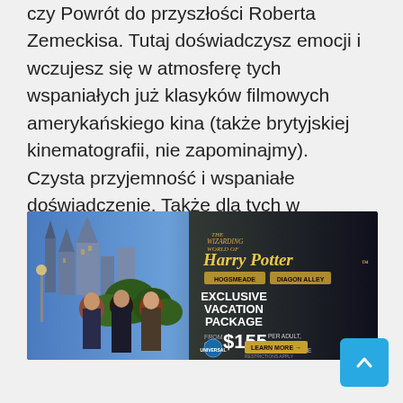czy Powrót do przyszłości Roberta Zemeckisa. Tutaj doświadczysz emocji i wczujesz się w atmosferę tych wspaniałych już klasyków filmowych amerykańskiego kina (także brytyjskiej kinematografii, nie zapominajmy). Czysta przyjemność i wspaniałe doświadczenie. Także dla tych w starszym wieku i pokolenia lat 70-tych ...
[Figure (photo): Advertisement banner for Universal Studios Wizarding World of Harry Potter. Shows Harry Potter, Hermione Granger, and Ron Weasley against Hogwarts castle background. Text reads: The Wizarding World of Harry Potter, HOGSMEADE, DIAGON ALLEY, EXCLUSIVE VACATION PACKAGE, FROM ONLY $155 PER ADULT PER NIGHT TAX INCLUSIVE, Universal Studios, LEARN MORE →, RESTRICTIONS APPLY]